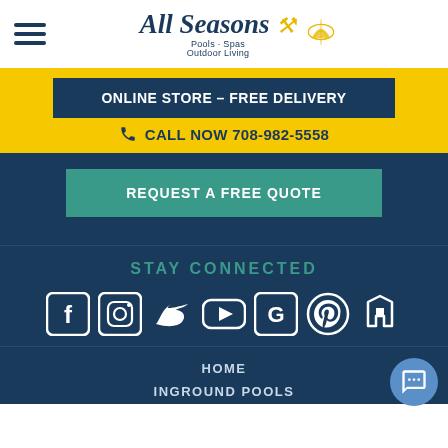[Figure (logo): All Seasons Pools - Spas - Outdoor Living logo with decorative script text and golden emblem]
ONLINE STORE – FREE DELIVERY
CALL NOW 708-982-5558
REQUEST A FREE QUOTE
STAY CONNECTED
[Figure (infographic): Row of social media icons: Facebook, Instagram, Twitter, YouTube, Google, Pinterest, Houzz]
HOME
INGROUND POOLS